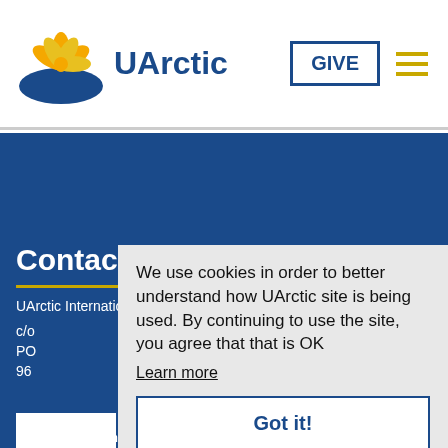UArctic | GIVE
Contact
UArctic International Secretariat
c/o
PO
96
We use cookies in order to better understand how UArctic site is being used. By continuing to use the site, you agree that that is OK
Learn more
Got it!
Th
un
organizations concerned with education and research in and